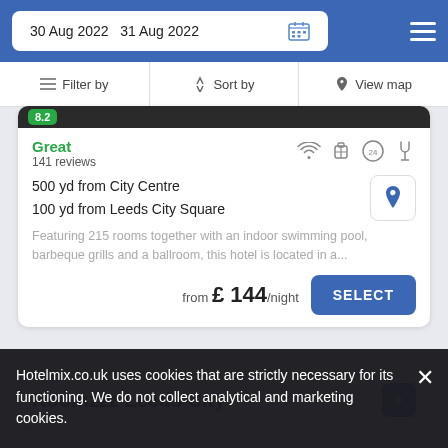30 Aug 2022  31 Aug 2022
Filter by  Sort by  View map
8.2
Great
141 reviews
500 yd from City Centre
100 yd from Leeds City Square
Featuring 215 rooms together with an indoor swimming pool, barbeque grills and a ballroom, this hotel is located in a...
from £ 144 /night  SELECT
Roomzzz Leeds City
Hotelmix.co.uk uses cookies that are strictly necessary for its functioning. We do not collect analytical and marketing cookies.